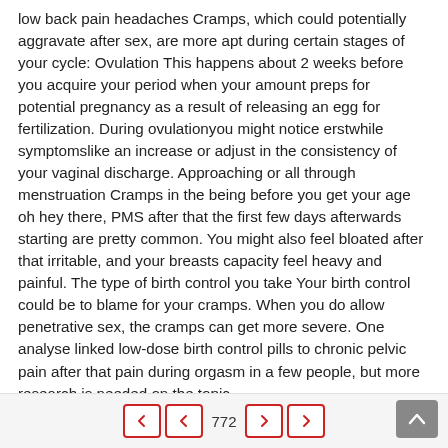low back pain headaches Cramps, which could potentially aggravate after sex, are more apt during certain stages of your cycle: Ovulation This happens about 2 weeks before you acquire your period when your amount preps for potential pregnancy as a result of releasing an egg for fertilization. During ovulationyou might notice erstwhile symptomslike an increase or adjust in the consistency of your vaginal discharge. Approaching or all through menstruation Cramps in the being before you get your age oh hey there, PMS after that the first few days afterwards starting are pretty common. You might also feel bloated after that irritable, and your breasts capacity feel heavy and painful. The type of birth control you take Your birth control could be to blame for your cramps. When you do allow penetrative sex, the cramps can get more severe. One analyse linked low-dose birth control pills to chronic pelvic pain after that pain during orgasm in a few people, but more research is needed on the topic.
772